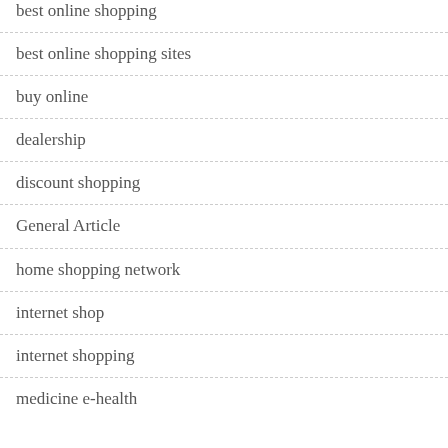best online shopping
best online shopping sites
buy online
dealership
discount shopping
General Article
home shopping network
internet shop
internet shopping
medicine e-health